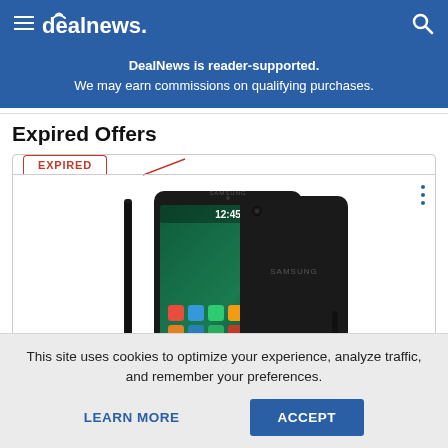dealnews
DealNews is reader-supported. We may earn commissions on qualifying purchases.
Expired Offers
[Figure (photo): Samsung Galaxy Tab S2 tablet shown from front and back angles, black color, on a white background. Tab shows home screen with apps.]
This site uses cookies to optimize your experience, analyze traffic, and remember your preferences.